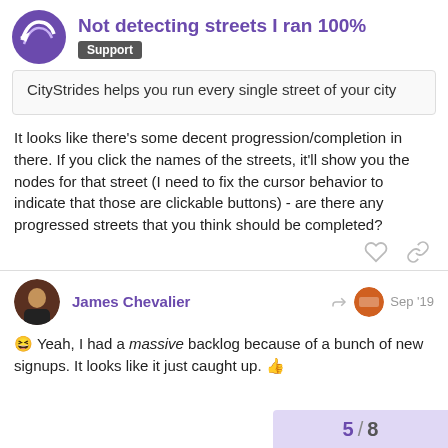Not detecting streets I ran 100% — Support
CityStrides helps you run every single street of your city
It looks like there's some decent progression/completion in there. If you click the names of the streets, it'll show you the nodes for that street (I need to fix the cursor behavior to indicate that those are clickable buttons) - are there any progressed streets that you think should be completed?
James Chevalier — Sep '19
😆 Yeah, I had a massive backlog because of a bunch of new signups. It looks like it just caught up. 👍
5 / 8